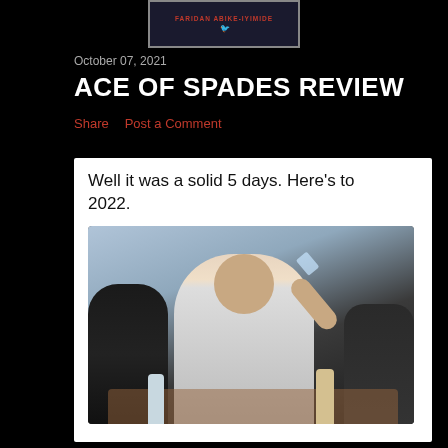[Figure (logo): Blog header banner with text FARIDAN ABIKE-IYIMIDE in red on dark background with border]
October 07, 2021
ACE OF SPADES REVIEW
Share   Post a Comment
[Figure (screenshot): White card meme with text 'Well it was a solid 5 days. Here's to 2022.' above a photo of a man raising a glass in a toast, seated at a table with bottles, with a waiter in formal attire visible behind him.]